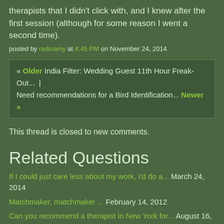therapists that I didn't click with, and I knew after the first session (although for some reason I went a second time).
posted by radioamy at 4:45 PM on November 24, 2014
« Older India Filter: Wedding Guest 11th Hour Freak-Out...  |  Need recommendations for a Bird Identification... Newer »
This thread is closed to new comments.
Related Questions
If I could just care less about my work, I'd do a... March 24, 2014
Matchmaker, matchmaker ... February 14, 2012
Can you recommend a therapist in New York for... August 16,